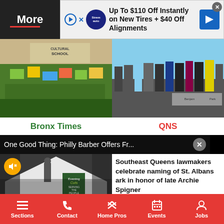More
[Figure (screenshot): Advertisement: Up To $110 Off Instantly on New Tires + $40 Off Alignments]
[Figure (photo): Children holding signs protesting outside a Cultural School building]
[Figure (photo): Group of adults standing on a stage at Benjamin Park]
Bronx Times
QNS
One Good Thing: Philly Barber Offers Fr...
[Figure (photo): Video thumbnail showing a tent event with a sign reading 'Evening Cuts Serving the People']
Southeast Queens lawmakers celebrate naming of St. Albans ark in honor of late Archie Spigner
Sections  Contact  Home Pros  Events  Jobs